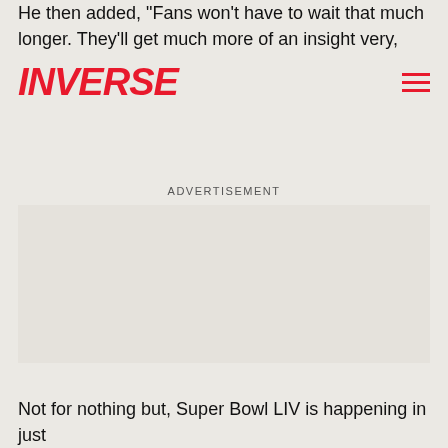He then added, "Fans won't have to wait that much longer. They'll get much more of an insight very, very soon."
INVERSE
ADVERTISEMENT
Not for nothing but, Super Bowl LIV is happening in just